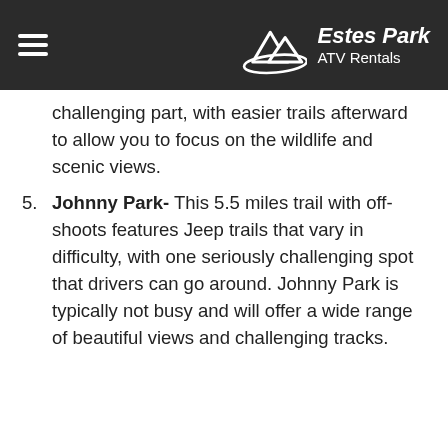Estes Park ATV Rentals
challenging part, with easier trails afterward to allow you to focus on the wildlife and scenic views.
Johnny Park- This 5.5 miles trail with off-shoots features Jeep trails that vary in difficulty, with one seriously challenging spot that drivers can go around. Johnny Park is typically not busy and will offer a wide range of beautiful views and challenging tracks.